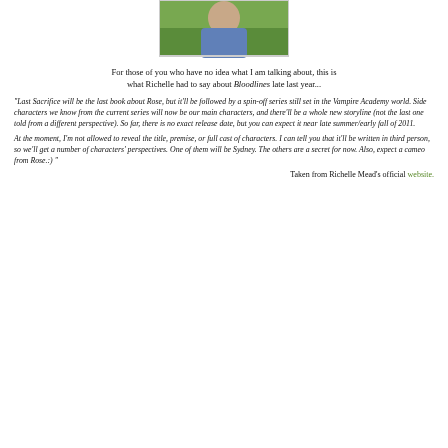[Figure (photo): Partial photo of a woman sitting outdoors in green grass, wearing blue clothing]
For those of you who have no idea what I am talking about, this is what Richelle had to say about Bloodlines late last year...
"Last Sacrifice will be the last book about Rose, but it'll be followed by a spin-off series still set in the Vampire Academy world. Side characters we know from the current series will now be our main characters, and there'll be a whole new storyline (not the last one told from a different perspective). So far, there is no exact release date, but you can expect it near late summer/early fall of 2011.
At the moment, I'm not allowed to reveal the title, premise, or full cast of characters. I can tell you that it'll be written in third person, so we'll get a number of characters' perspectives. One of them will be Sydney. The others are a secret for now. Also, expect a cameo from Rose.:) "
Taken from Richelle Mead's official website.